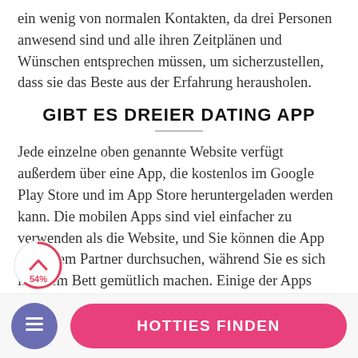ein wenig von normalen Kontakten, da drei Personen anwesend sind und alle ihren Zeitplänen und Wünschen entsprechen müssen, um sicherzustellen, dass sie das Beste aus der Erfahrung herausholen.
GIBT ES DREIER DATING APP
Jede einzelne oben genannte Website verfügt außerdem über eine App, die kostenlos im Google Play Store und im App Store heruntergeladen werden kann. Die mobilen Apps sind viel einfacher zu verwenden als die Website, und Sie können die App mit Ihrem Partner durchsuchen, während Sie es sich in Ihrem Bett gemütlich machen. Einige der Apps verfügen über die Storytelling-Funktion, mit der Sie Ihre Fantasie